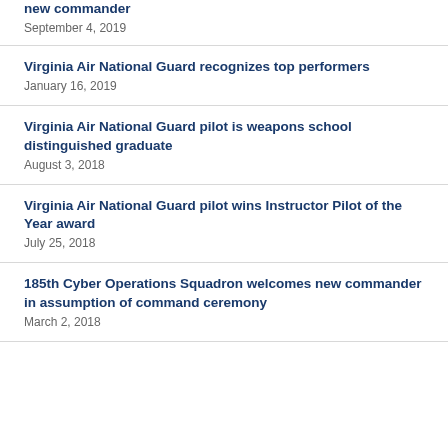new commander
September 4, 2019
Virginia Air National Guard recognizes top performers
January 16, 2019
Virginia Air National Guard pilot is weapons school distinguished graduate
August 3, 2018
Virginia Air National Guard pilot wins Instructor Pilot of the Year award
July 25, 2018
185th Cyber Operations Squadron welcomes new commander in assumption of command ceremony
March 2, 2018